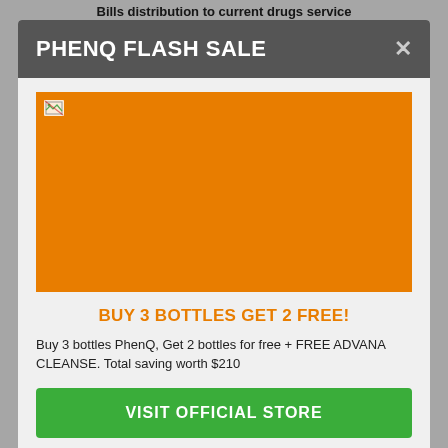Bills distribution to current drugs service
PHENQ FLASH SALE
[Figure (photo): Orange promotional banner image for PhenQ (broken/unloaded image shown as orange rectangle)]
BUY 3 BOTTLES GET 2 FREE!
Buy 3 bottles PhenQ, Get 2 bottles for free + FREE ADVANA CLEANSE. Total saving worth $210
VISIT OFFICIAL STORE
Rita, Guatire, Punto Fijo, La Victoria, San Antonio del Tachira, Acarigua, Upata, Merida, Carora, Araure, San Jose de Guanipa, Valera, La